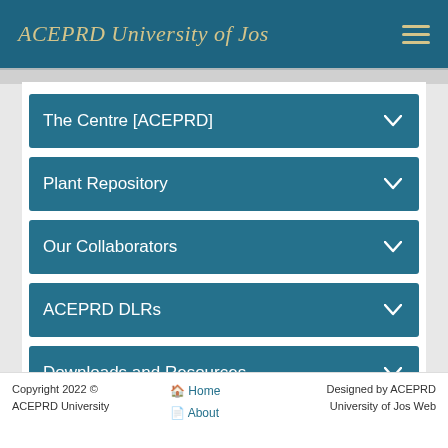ACEPRD University of Jos
The Centre [ACEPRD]
Plant Repository
Our Collaborators
ACEPRD DLRs
Downloads and Resources
E-Learning Services
Library Services
Picture Gallery (partial)
Copyright 2022 © ACEPRD University | Home | About | Designed by ACEPRD University of Jos Web